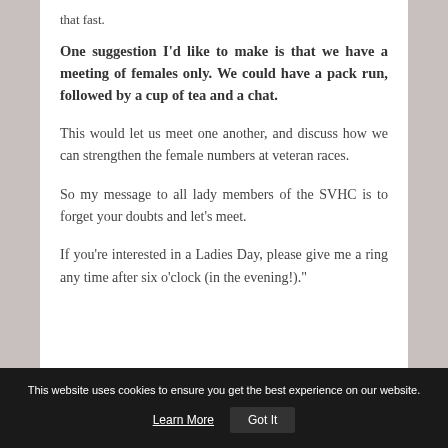that fast.
One suggestion I'd like to make is that we have a meeting of females only. We could have a pack run, followed by a cup of tea and a chat.
This would let us meet one another, and discuss how we can strengthen the female numbers at veteran races.
So my message to all lady members of the SVHC is to forget your doubts and let's meet.
If you're interested in a Ladies Day, please give me a ring any time after six o'clock (in the evening!)."
This website uses cookies to ensure you get the best experience on our website.  Learn More  Got It